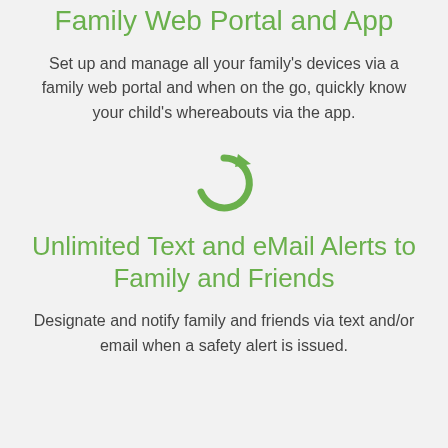Family Web Portal and App
Set up and manage all your family's devices via a family web portal and when on the go, quickly know your child's whereabouts via the app.
[Figure (illustration): Green circular refresh/reload arrow icon]
Unlimited Text and eMail Alerts to Family and Friends
Designate and notify family and friends via text and/or email when a safety alert is issued.